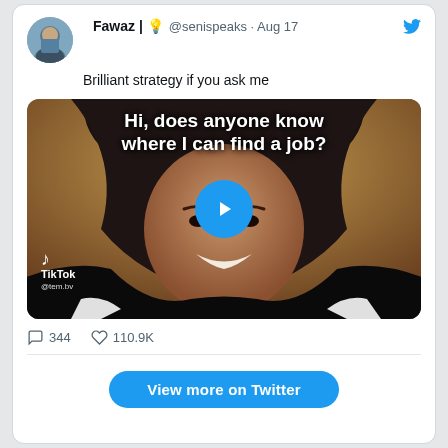Fawaz | 💡 @senispeaks · Aug 17
Brilliant strategy if you ask me
[Figure (screenshot): TikTok video thumbnail showing a young woman in a black and white hoodie, with overlay text 'Hi, does anyone know where I can find a job?' and a play button. TikTok logo and @tem.bv handle visible in lower left.]
344   110.9K
View more on Twitter